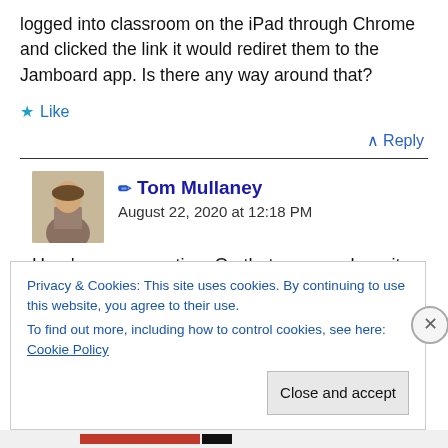logged into classroom on the iPad through Chrome and clicked the link it would rediret them to the Jamboard app. Is there any way around that?
★ Like
∧ Reply
✏ Tom Mullaney
August 22, 2020 at 12:18 PM
Here's my suggestion: On that screen where it
Privacy & Cookies: This site uses cookies. By continuing to use this website, you agree to their use.
To find out more, including how to control cookies, see here: Cookie Policy
Close and accept